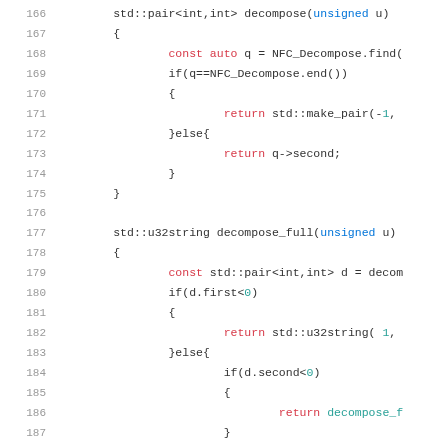[Figure (screenshot): Source code listing in C++ showing two functions: decompose() returning std::pair<int,int> and decompose_full() returning std::u32string, with syntax highlighting. Line numbers 166–188 are visible.]